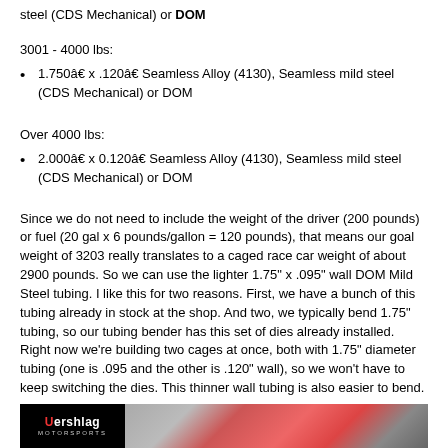steel (CDS Mechanical) or DOM
3001 - 4000 lbs:
1.750″ x .120″ Seamless Alloy (4130), Seamless mild steel (CDS Mechanical) or DOM
Over 4000 lbs:
2.000″ x 0.120″ Seamless Alloy (4130), Seamless mild steel (CDS Mechanical) or DOM
Since we do not need to include the weight of the driver (200 pounds) or fuel (20 gal x 6 pounds/gallon = 120 pounds), that means our goal weight of 3203 really translates to a caged race car weight of about 2900 pounds. So we can use the lighter 1.75" x .095" wall DOM Mild Steel tubing. I like this for two reasons. First, we have a bunch of this tubing already in stock at the shop. And two, we typically bend 1.75" tubing, so our tubing bender has this set of dies already installed. Right now we're building two cages at once, both with 1.75" diameter tubing (one is .095 and the other is .120" wall), so we won't have to keep switching the dies. This thinner wall tubing is also easier to bend.
[Figure (photo): Werschlag Motorsports logo on the left with a photo of a red race car in a shop on the right]